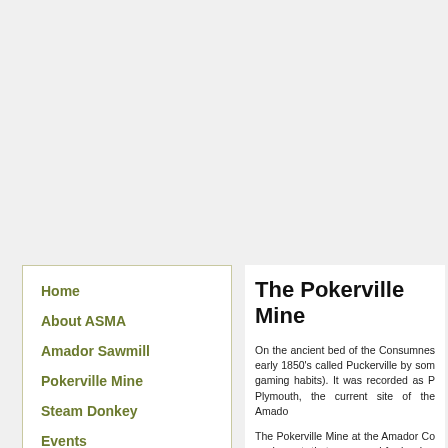Home
About ASMA
Amador Sawmill
Pokerville Mine
Steam Donkey
Events
Newsletters
Restoration Shop
Fageol
Lumber For Sale Etc.
The Pokerville Mine
On the ancient bed of the Consumnes early 1850's called Puckerville by som gaming habits). It was recorded as P Plymouth, the current site of the Amado
The Pokerville Mine at the Amador Co equipment that were used for hard ro wood headframe from one of the many an ore bucket filled with ore up from th was fed into the working rotary stamp m